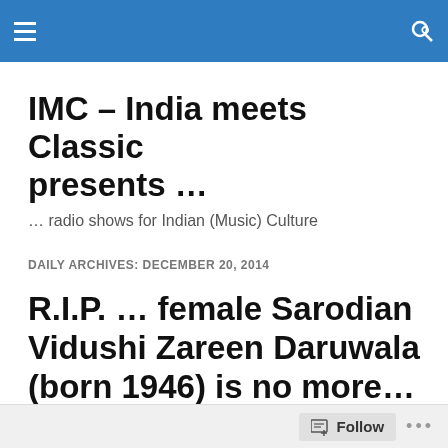IMC – India meets Classic presents …
IMC – India meets Classic presents …
… radio shows for Indian (Music) Culture
DAILY ARCHIVES: DECEMBER 20, 2014
R.I.P. … female Sarodian Vidushi Zareen Daruwala (born 1946) is no more…
Just received the sad news from Mumbai: officials…